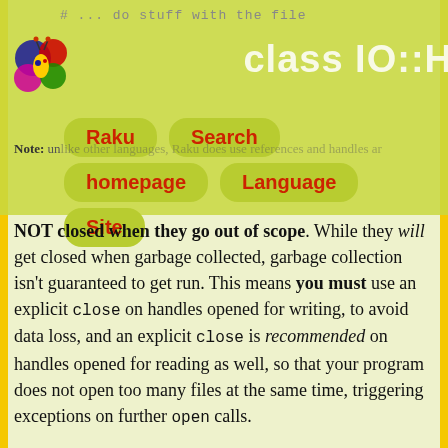[Figure (screenshot): Raku language documentation website header with logo, navigation buttons (Raku homepage, Language, Search, Site), and a faint code comment '# ... do stuff with the file' and 'class IO::H' text]
Note: unlike other languages, Raku does use references and handles are NOT closed when they go out of scope. While they will get closed when garbage collected, garbage collection isn't guaranteed to get run. This means you must use an explicit close on handles opened for writing, to avoid data loss, and an explicit close is recommended on handles opened for reading as well, so that your program does not open too many files at the same time, triggering exceptions on further open calls.
Note several methods allow for providing :close argument, to close the handle after the operation invoked by the method completes. As a simpler alternative, the IO::Path type provides many reading and writing methods that let you work with files without dealing with filehandles directly.
method flush
Defined